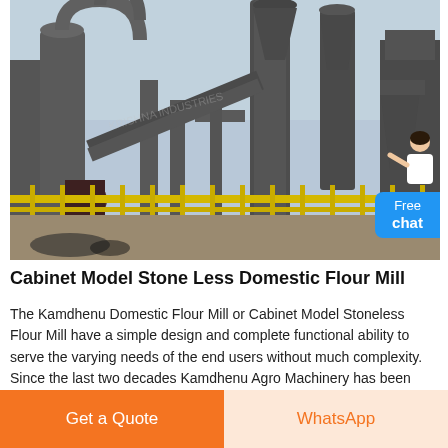[Figure (photo): Industrial flour mill / stone less domestic flour mill machinery with large metal pipes, cyclone dust collectors, conveyors, and yellow safety railings in an outdoor industrial setting.]
Cabinet Model Stone Less Domestic Flour Mill
The Kamdhenu Domestic Flour Mill or Cabinet Model Stoneless Flour Mill have a simple design and complete functional ability to serve the varying needs of the end users without much complexity. Since the last two decades Kamdhenu Agro Machinery has been successful in catering to the varied demands of all its esteem customers around the